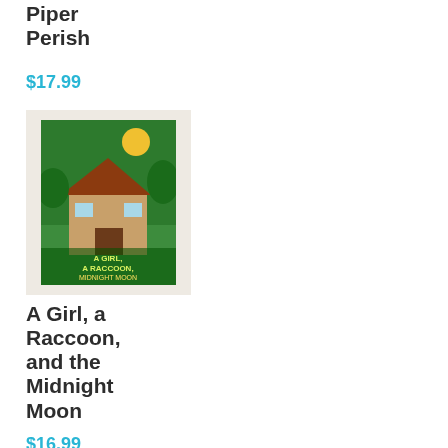Piper Perish
$17.99
[Figure (photo): Book cover of 'A Girl, a Raccoon, and the Midnight Moon' — colorful illustrated cover with green tones, a house, and woodland scene]
A Girl, a Raccoon, and the Midnight Moon
$16.99
[Figure (photo): Book cover of 'Salt' — dark cover with white text 'SALT' and a small white figure against a dark, moody background]
Salt